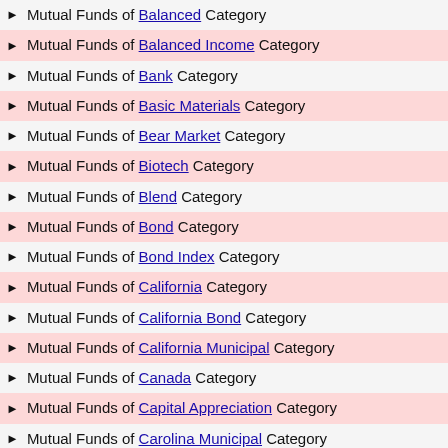▶ Mutual Funds of Balanced Category
▶ Mutual Funds of Balanced Income Category
▶ Mutual Funds of Bank Category
▶ Mutual Funds of Basic Materials Category
▶ Mutual Funds of Bear Market Category
▶ Mutual Funds of Biotech Category
▶ Mutual Funds of Blend Category
▶ Mutual Funds of Bond Category
▶ Mutual Funds of Bond Index Category
▶ Mutual Funds of California Category
▶ Mutual Funds of California Bond Category
▶ Mutual Funds of California Municipal Category
▶ Mutual Funds of Canada Category
▶ Mutual Funds of Capital Appreciation Category
▶ Mutual Funds of Carolina Municipal Category
▶ Mutual Funds of China Category
▶ Mutual Funds of Class A Category
▶ Mutual Funds of Class B Category